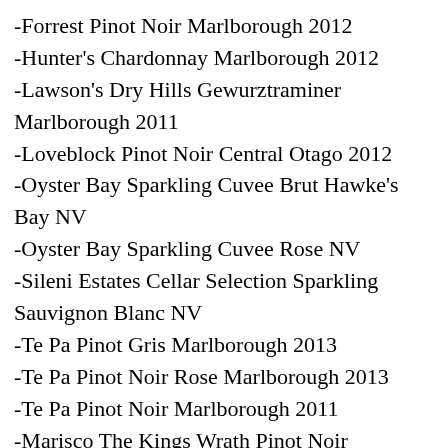-Forrest Pinot Noir Marlborough 2012
-Hunter's Chardonnay Marlborough 2012
-Lawson's Dry Hills Gewurztraminer Marlborough 2011
-Loveblock Pinot Noir Central Otago 2012
-Oyster Bay Sparkling Cuvee Brut Hawke's Bay NV
-Oyster Bay Sparkling Cuvee Rose NV
-Sileni Estates Cellar Selection Sparkling Sauvignon Blanc NV
-Te Pa Pinot Gris Marlborough 2013
-Te Pa Pinot Noir Rose Marlborough 2013
-Te Pa Pinot Noir Marlborough 2011
-Marisco The Kings Wrath Pinot Noir Marlborough 2012
-Matua Squealing Pig Sauvignon Blanc Marlborough 2013
*** GOOD -- Three Stars (85 – 87 in Quality/Price Rating terms):
-Astrolabe Premium Sauvignon Blanc Marlborough 2013